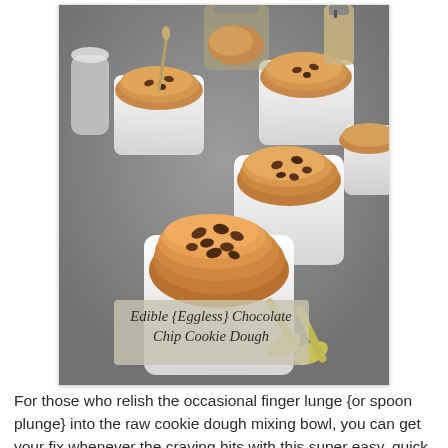[Figure (photo): A food photo showing several white square bowls filled with scoops of chocolate chip cookie dough, with spoons in background and silver spoons resting on a grey surface in the foreground. Text overlay reads 'Edible {Eggless} Chocolate Chip Cookie Dough'.]
For those who relish the occasional finger lunge {or spoon plunge} into the raw cookie dough mixing bowl, you can get your fix whenever the craving hits with this super easy, quick